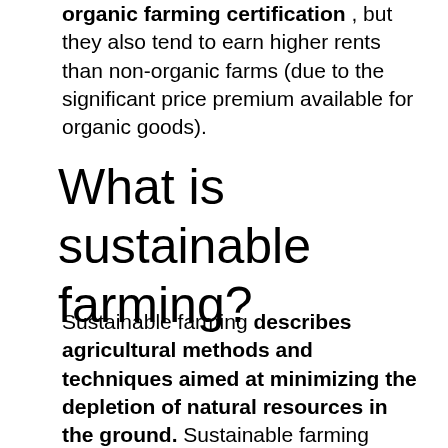organic farming certification , but they also tend to earn higher rents than non-organic farms (due to the significant price premium available for organic goods).
What is sustainable farming?
Sustainable farming describes agricultural methods and techniques aimed at minimizing the depletion of natural resources in the ground. Sustainable farming practices are aimed at preserving higher levels of organic matter, reducing erosion, and keeping more carbon in the soil